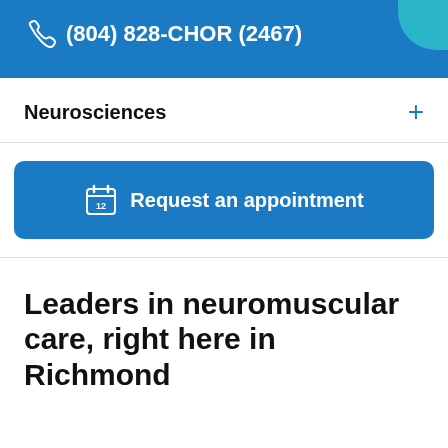(804) 828-CHOR (2467)
Neurosciences
Request an appointment
Leaders in neuromuscular care, right here in Richmond